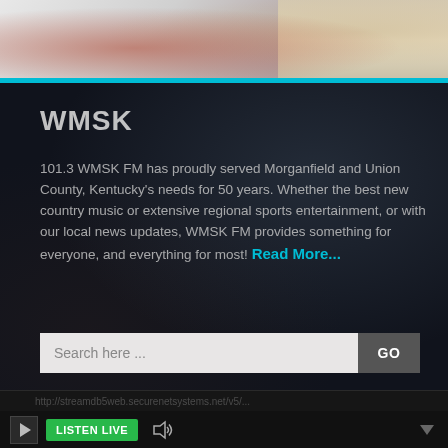[Figure (screenshot): Top banner background image showing blurred dark and warm tones with a cyan accent bar below]
WMSK
101.3 WMSK FM has proudly served Morganfield and Union County, Kentucky's needs for 50 years. Whether the best new country music or extensive regional sports entertainment, or with our local news updates, WMSK FM provides something for everyone, and everything for most! Read More...
Search here ...
http://streamdb5web.securenetsystems.net/v5/...
LISTEN LIVE